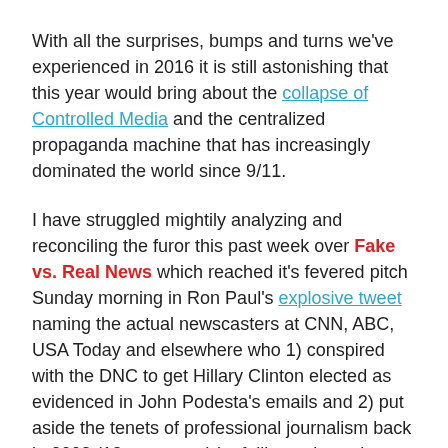With all the surprises, bumps and turns we've experienced in 2016 it is still astonishing that this year would bring about the collapse of Controlled Media and the centralized propaganda machine that has increasingly dominated the world since 9/11.
I have struggled mightily analyzing and reconciling the furor this past week over Fake vs. Real News which reached it's fevered pitch Sunday morning in Ron Paul's explosive tweet naming the actual newscasters at CNN, ABC, USA Today and elsewhere who 1) conspired with the DNC to get Hillary Clinton elected as evidenced in John Podesta's emails and 2) put aside the tenets of professional journalism back in 2003 (13 years ago) by failing to investigate the truth and sources accusing Iraq of stockpiling weapons of mass destruction.
READ MORE